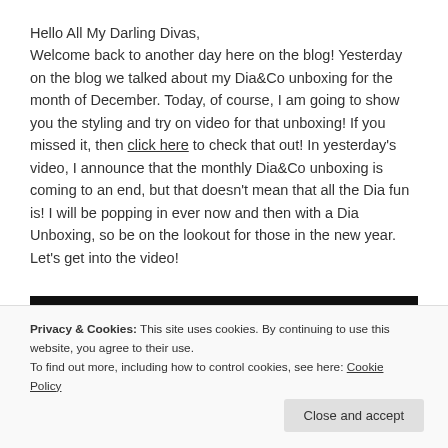Hello All My Darling Divas,
Welcome back to another day here on the blog! Yesterday on the blog we talked about my Dia&Co unboxing for the month of December. Today, of course, I am going to show you the styling and try on video for that unboxing! If you missed it, then click here to check that out! In yesterday's video, I announce that the monthly Dia&Co unboxing is coming to an end, but that doesn't mean that all the Dia fun is! I will be popping in ever now and then with a Dia Unboxing, so be on the lookout for those in the new year. Let's get into the video!
[Figure (screenshot): Video thumbnail with dark background, circular avatar on the left, and colorful text/logos at the bottom including Dia&Co branding]
Privacy & Cookies: This site uses cookies. By continuing to use this website, you agree to their use.
To find out more, including how to control cookies, see here: Cookie Policy